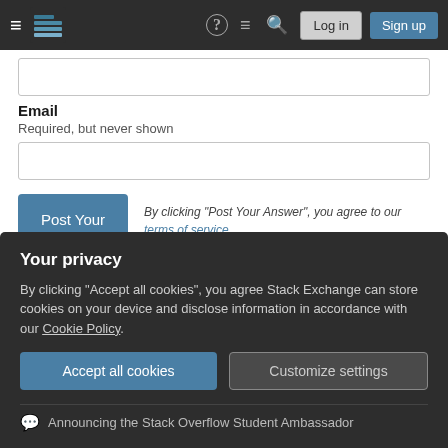Stack Exchange navigation bar with hamburger menu, logo, help, chat, search, Log in, Sign up
Email
Required, but never shown
Post Your Answer — By clicking "Post Your Answer", you agree to our terms of service, privacy policy and cookie policy
Not the answer you're looking for? Browse other questions
Your privacy
By clicking "Accept all cookies", you agree Stack Exchange can store cookies on your device and disclose information in accordance with our Cookie Policy.
Accept all cookies | Customize settings
Announcing the Stack Overflow Student Ambassador